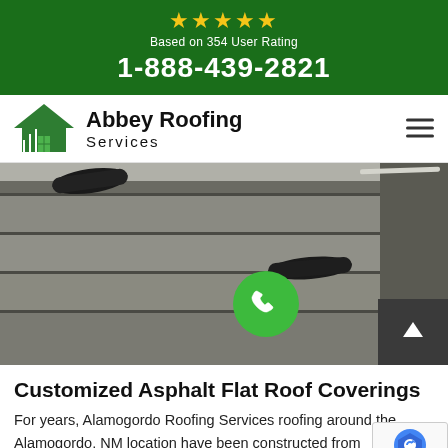★★★★★ Based on 354 User Rating 1-888-439-2821
[Figure (logo): Abbey Roofing Services logo with green house/roof icon and hamburger menu]
[Figure (photo): Flat roof installation showing rolled asphalt membrane sheets on a rooftop with phone and scroll-up buttons overlaid]
Customized Asphalt Flat Roof Coverings
For years, Alamogordo Roofing Services roofing around the Alamogordo, NM location have been constructed from Customized Asphalt Systems